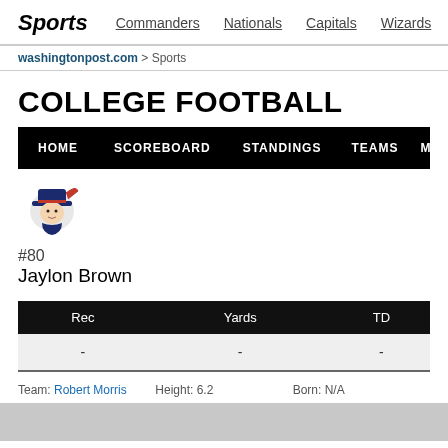Sports  Commanders  Nationals  Capitals  Wizards
washingtonpost.com > Sports
COLLEGE FOOTBALL
HOME  SCOREBOARD  STANDINGS  TEAMS  MORE...
[Figure (logo): Robert Morris Colonials mascot logo - colonial soldier figure in red and blue]
#80
Jaylon Brown
| Rec | Yards | TD |
| --- | --- | --- |
| - | - | - |
Team: Robert Morris   Height: 6.2   Born: N/A